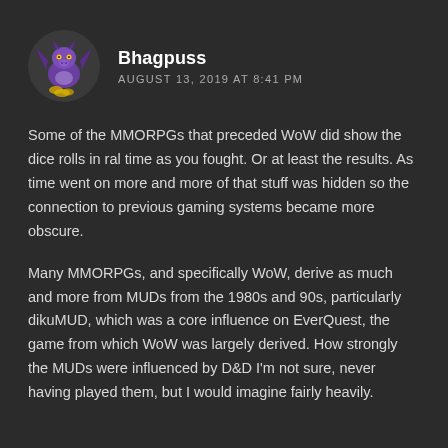[Figure (illustration): Purple dragon avatar icon for user Bhagpuss]
Bhagpuss
AUGUST 13, 2019 AT 8:41 PM
Some of the MMORPGs that preceded WoW did show the dice rolls in ral time as you fought. Or at least the results. As time went on more and more of that stuff was hidden so the connection to previous gaming systems became more obscure.
Many MMORPGs, and specifically WoW, derive as much and more from MUDs from the 1980s and 90s, particularly dikuMUD, which was a core influence on EverQuest, the game from which WoW was largely derived. How strongly the MUDs were influenced by D&D I'm not sure, never having played them, but I would imagine fairly heavily.